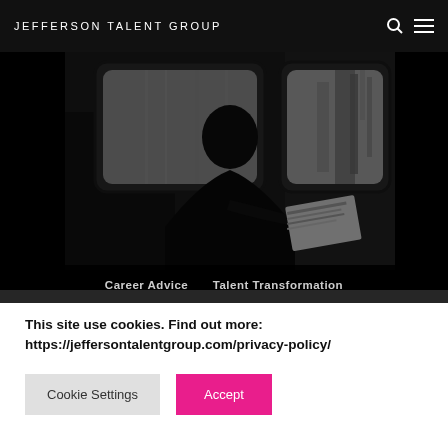JEFFERSON TALENT GROUP
[Figure (photo): Black and white photo of a person sitting on a train or transit vehicle, reading a newspaper, with windows showing blurred motion outside]
Career Advice   Talent Transformation
This site use cookies. Find out more: https://jeffersontalentgroup.com/privacy-policy/